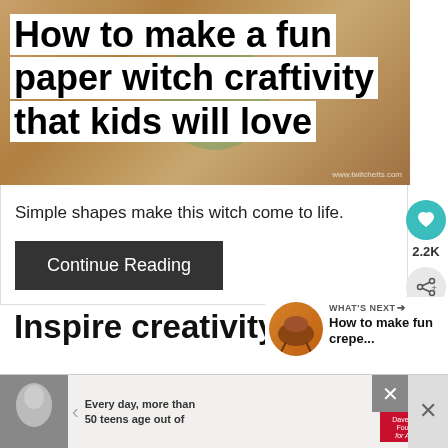[Figure (photo): Child crafting on a wood-grain table, with yarn, viewed from above. White overlaid title text reads: How to make a fun paper witch craftivity that kids will love]
How to make a fun paper witch craftivity that kids will love
Simple shapes make this witch come to life.
Continue Reading
Inspire creativity
[Figure (photo): WHAT'S NEXT arrow label, thumbnail of crepe craft, text: How to make fun crepe...]
Are you trying to inspire creativity in your kids?
[Figure (photo): Advertisement banner: woman photo on left, text 'Everyday more than 50 teens age out of foster care...', Dave Thomas Foundation for Adoption logo]